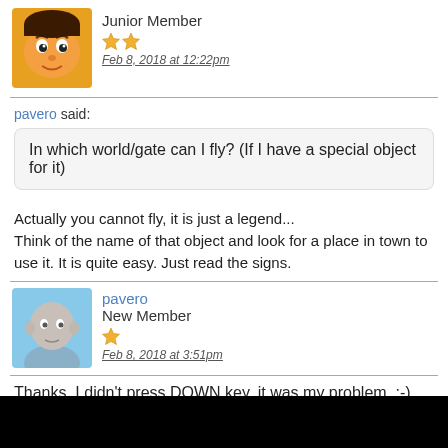Junior Member
Feb 8, 2018 at 12:22pm
pavero said:
In which world/gate can I fly? (If I have a special object for it)
Actually you cannot fly, it is just a legend...
Think of the name of that object and look for a place in town to use it. It is quite easy. Just read the signs.
pavero
New Member
Feb 8, 2018 at 3:51pm
Thanks, I didn't press DOWN key, it was my problem. :-)
pavero
New Member